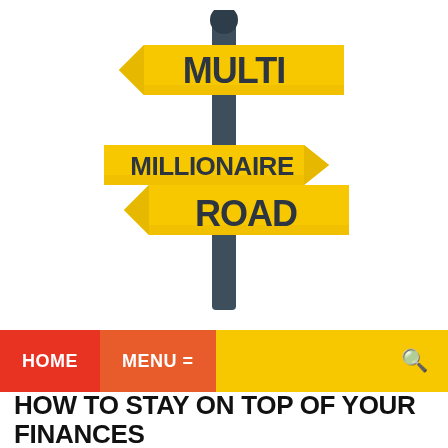[Figure (illustration): Street sign post illustration with three yellow directional signs stacked on a dark pole. Top sign points left and reads 'MULTI', middle sign points right and reads 'MILLIONAIRE', bottom sign points left and reads 'ROAD'. Text is in dark bold font on yellow/gold arrow-shaped signs.]
HOME   MENU =
HOW TO STAY ON TOP OF YOUR FINANCES